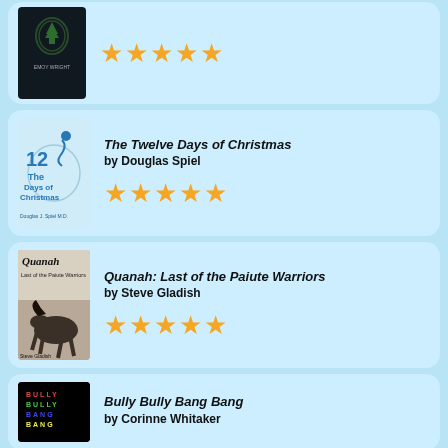[Figure (illustration): Book card 1 (partial): dark cover with tree logo by Emoy Wright, 5 star rating]
[Figure (illustration): Book card 2: The Twelve Days of Christmas by Douglas Spiel, cover with blue figure and pill imagery, 5 star rating]
The Twelve Days of Christmas by Douglas Spiel
[Figure (illustration): Book card 3: Quanah: Last of the Paiute Warriors by Steve Gladish, cover with Native American on horse, 4.5 star rating]
Quanah: Last of the Paiute Warriors by Steve Gladish
[Figure (illustration): Book card 4 (partial): Bully Bully Bang Bang by Corinne Whitaker, black cover with colorful text]
Bully Bully Bang Bang by Corinne Whitaker